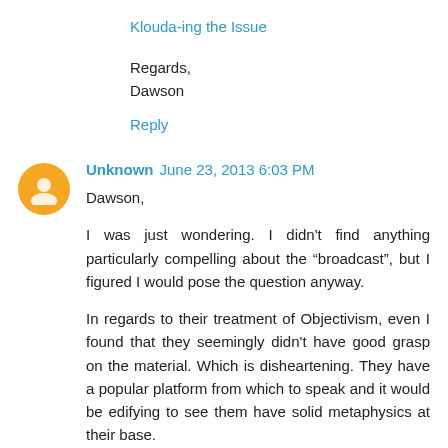Klouda-ing the Issue
Regards,
Dawson
Reply
Unknown  June 23, 2013 6:03 PM
Dawson,

I was just wondering. I didn't find anything particularly compelling about the “broadcast”, but I figured I would pose the question anyway.

In regards to their treatment of Objectivism, even I found that they seemingly didn't have good grasp on the material. Which is disheartening. They have a popular platform from which to speak and it would be edifying to see them have solid metaphysics at their base.

In Humanity,